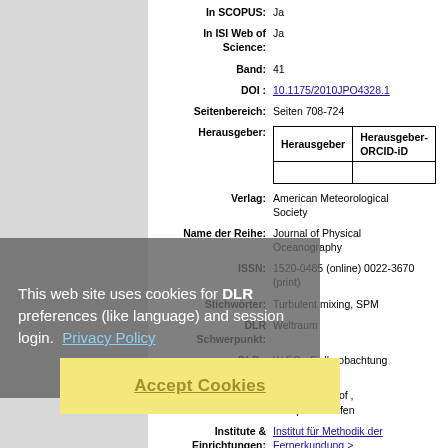| Herausgeber | Herausgeber-ORCID-iD |
| --- | --- |
|   |   |
In SCOPUS: Ja
In ISI Web of Science: Ja
Band: 41
DOI: 10.1175/2010JPO4328.1
Seitenbereich: Seiten 708-724
Verlag: American Meteorological Society
Name der Reihe: Journal of Physical Oceanography
ISSN: 1520-0485 (online) 0022-3670 (print)
Stichwörter: Turbulent mixing, SPM
DLR Schwerpunkt: Weltraum
DLR - Forschungsgebiet: W EO - Erdbeobachtung
Standort: Berlin-Adlershof , Oberpfaffenhofen
Institute & Einrichtungen: Institut für Methodik der Fernerkundung > Gewässerfernerkundung
Nur für Mitarbeiter des Archivs: Kontrollseite des Eintrags
This web site uses cookies for DLR preferences (like language) and session login. Privacy Policy
Accept Cookies